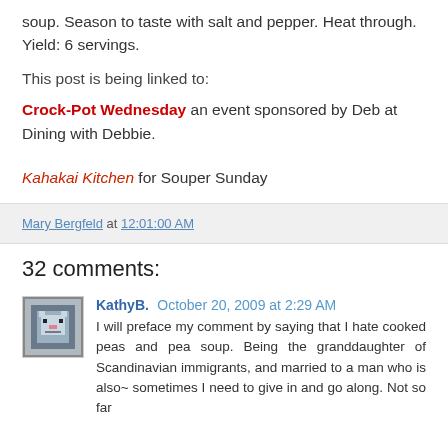soup. Season to taste with salt and pepper. Heat through. Yield: 6 servings.
This post is being linked to:
Crock-Pot Wednesday an event sponsored by Deb at Dining with Debbie.
Kahakai Kitchen for Souper Sunday
Mary Bergfeld at 12:01:00 AM
32 comments:
KathyB. October 20, 2009 at 2:29 AM
I will preface my comment by saying that I hate cooked peas and pea soup. Being the granddaughter of Scandinavian immigrants, and married to a man who is also~ sometimes I need to give in and go along. Not so far